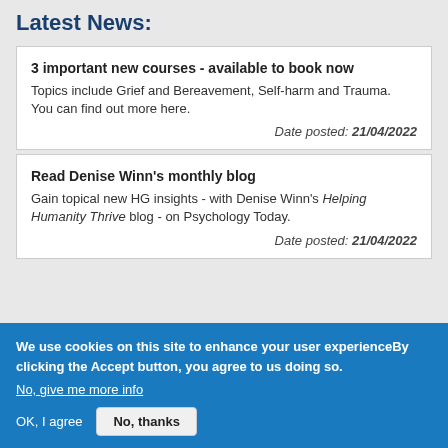Latest News:
3 important new courses - available to book now
Topics include Grief and Bereavement, Self-harm and Trauma.  You can find out more here.
Date posted: 21/04/2022
Read Denise Winn's monthly blog
Gain topical new HG insights - with Denise Winn's Helping Humanity Thrive blog - on Psychology Today.
Date posted: 21/04/2022
We use cookies on this site to enhance your user experienceBy clicking the Accept button, you agree to us doing so.
No, give me more info
OK, I agree  No, thanks